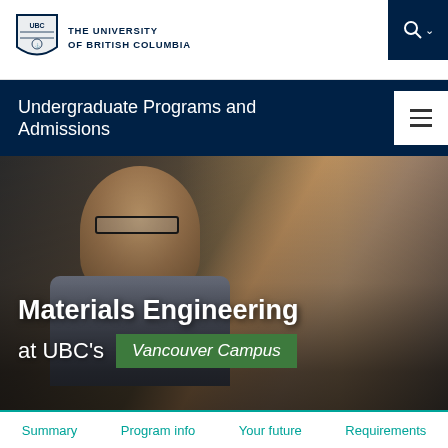[Figure (logo): UBC shield logo with text THE UNIVERSITY OF BRITISH COLUMBIA]
THE UNIVERSITY
OF BRITISH COLUMBIA
Undergraduate Programs and Admissions
[Figure (photo): A young male student wearing glasses and a grey shirt working in an industrial engineering lab with metal structures and equipment in the background]
Materials Engineering
at UBC's Vancouver Campus
Summary   Program info   Your future   Requirements